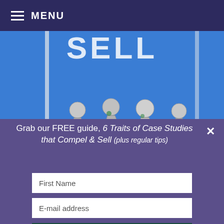MENU
[Figure (illustration): Book cover showing metallic paper-chain figures on a blue background with partial text 'SELL' visible at the top]
Grab our FREE guide, 6 Traits of Case Studies that Compel & Sell (plus regular tips)
First Name
E-mail address
GET IT NOW